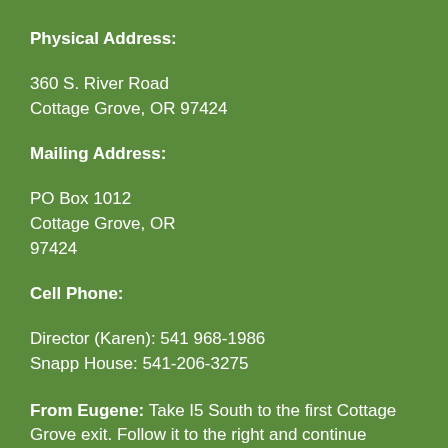Physical Address:
360 S. River Road
Cottage Grove, OR 97424
Mailing Address:
PO Box 1012
Cottage Grove, OR
97424
Cell Phone:
Director (Karen): 541 968-1986
Snapp House: 541-206-3275
From Eugene: Take I5 South to the first Cottage Grove exit. Follow it to the right and continue straight onto 9th Steet. Turn right at Main Street, go through historic downtown and